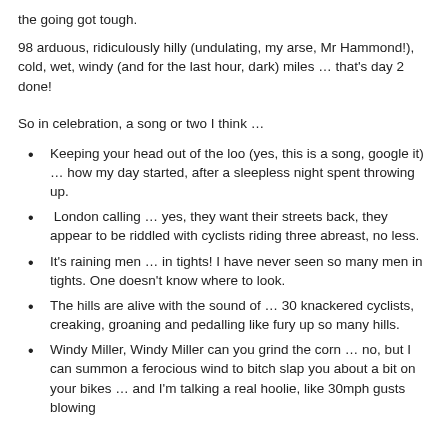the going got tough.
98 arduous, ridiculously hilly (undulating, my arse, Mr Hammond!), cold, wet, windy (and for the last hour, dark) miles … that's day 2 done!
So in celebration, a song or two I think …
Keeping your head out of the loo (yes, this is a song, google it) … how my day started, after a sleepless night spent throwing up.
London calling … yes, they want their streets back, they appear to be riddled with cyclists riding three abreast, no less.
It's raining men … in tights!  I have never seen so many men in tights.  One doesn't know where to look.
The hills are alive with the sound of … 30 knackered cyclists, creaking, groaning and pedalling like fury up so many hills.
Windy Miller, Windy Miller can you grind the corn … no, but I can summon a ferocious wind to bitch slap you about a bit on your bikes … and I'm talking a real hoolie, like 30mph gusts blowing